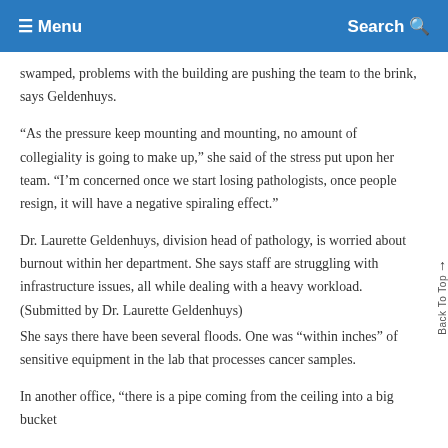≡ Menu   Search
swamped, problems with the building are pushing the team to the brink, says Geldenhuys.
“As the pressure keep mounting and mounting, no amount of collegiality is going to make up,” she said of the stress put upon her team. “I’m concerned once we start losing pathologists, once people resign, it will have a negative spiraling effect.”
Dr. Laurette Geldenhuys, division head of pathology, is worried about burnout within her department. She says staff are struggling with infrastructure issues, all while dealing with a heavy workload. (Submitted by Dr. Laurette Geldenhuys)
She says there have been several floods. One was “within inches” of sensitive equipment in the lab that processes cancer samples.
In another office, “there is a pipe coming from the ceiling into a big bucket